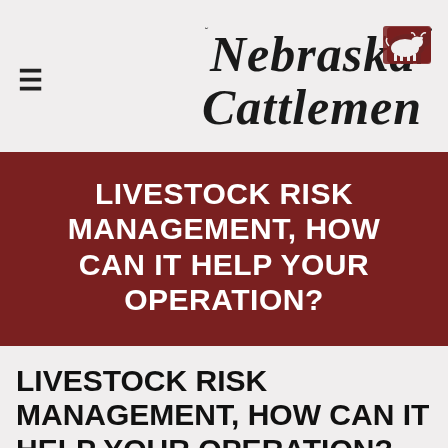[Figure (logo): Nebraska Cattlemen logo with hamburger menu icon on left and stylized italic Nebraska Cattlemen text with cow silhouette on right]
[Figure (infographic): Dark red/maroon hero banner with white bold uppercase text reading: LIVESTOCK RISK MANAGEMENT, HOW CAN IT HELP YOUR OPERATION?]
LIVESTOCK RISK MANAGEMENT, HOW CAN IT HELP YOUR OPERATION?